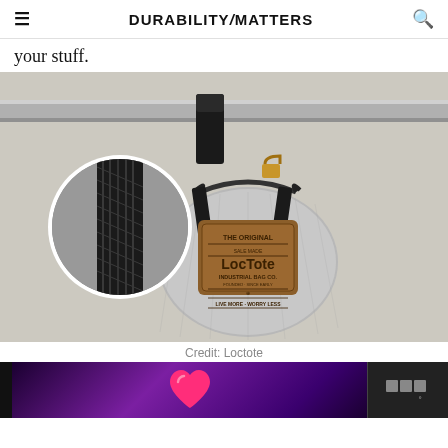≡ DURABILITYMATTERS 🔍
your stuff.
[Figure (photo): A LocTote Industrial Bag Co. drawstring bag hanging from a metal bar with a small padlock. An inset circular close-up shows the woven black strap texture. The bag is silver/grey with a leather branded patch reading 'The Original LocTote Industrial Bag Co. Live More Worry Less'.]
Credit: Loctote
[Figure (infographic): Dark advertisement banner with purple gradient background featuring a pink heart icon on the left side and a small logo icon on the right side.]